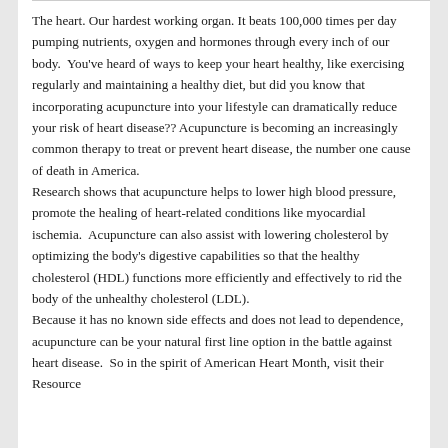The heart. Our hardest working organ. It beats 100,000 times per day pumping nutrients, oxygen and hormones through every inch of our body.  You've heard of ways to keep your heart healthy, like exercising regularly and maintaining a healthy diet, but did you know that incorporating acupuncture into your lifestyle can dramatically reduce your risk of heart disease?? Acupuncture is becoming an increasingly common therapy to treat or prevent heart disease, the number one cause of death in America.
Research shows that acupuncture helps to lower high blood pressure, promote the healing of heart-related conditions like myocardial ischemia.  Acupuncture can also assist with lowering cholesterol by optimizing the body's digestive capabilities so that the healthy cholesterol (HDL) functions more efficiently and effectively to rid the body of the unhealthy cholesterol (LDL).
Because it has no known side effects and does not lead to dependence, acupuncture can be your natural first line option in the battle against heart disease.  So in the spirit of American Heart Month, visit their Resource...